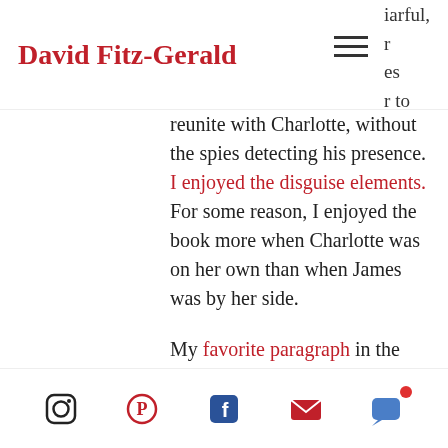David Fitz-Gerald
reunite with Charlotte, without the spies detecting his presence. I enjoyed the disguise elements. For some reason, I enjoyed the book more when Charlotte was on her own than when James was by her side.
My favorite paragraph in the book comes half-way through: “Her grandfather’s voice echoed from the waterfall. This time, she heard his words. You have great strength within yourself, Charlotte. You may draw strength from the land, as well. Look to the rugged beauty of the fells, the power of the water as it rushes down the ghylls, the howling voice of the wind in the mountain passes. Take heart and find solace in these gifts. Heft to the hills like the flocks of sheep. Do not be moved by fashion and
Social icons: Instagram, Pinterest, Facebook, Email, Chat